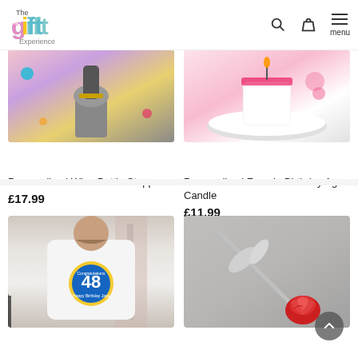The Gift Experience — navigation header with logo, search, basket, and menu icons
[Figure (photo): Product photo: Personalised Wine Bottle Stopper — metallic bottle stopper with colorful confetti background]
Personalised Wine Bottle Stopper
£17.99
[Figure (photo): Product photo: Personalised Female Birthday Age Candle — white round candle on a white plate with pink background]
Personalised Female Birthday Age Candle
£11.99
[Figure (photo): Product photo: Man wearing white t-shirt with '48 Congratulations Happy Birthday' circular badge design]
[Figure (photo): Product photo: Red rose with silver-coloured metallic leaves and stem on grey background]